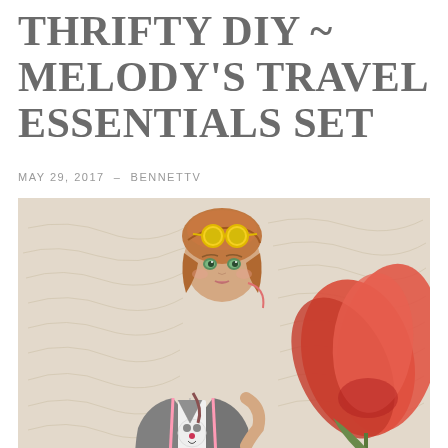THRIFTY DIY ~ MELODY'S TRAVEL ESSENTIALS SET
MAY 29, 2017  –  BENNETTV
[Figure (photo): American Girl doll with auburn hair, green eyes, yellow sunglasses on head, wearing a grey jacket with pink trim over a graphic t-shirt, posed against a floral script background with a large red tulip flower.]